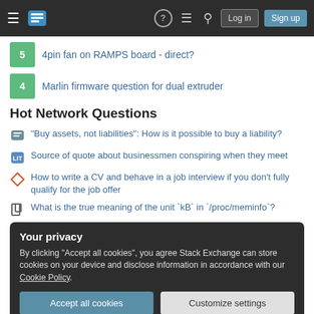Stack Exchange navigation bar with logo, Login and Sign up buttons
5  4pin fan on RAMPS board - direct?
4  Marlin firmware question for dual extruder
Hot Network Questions
"Buy assets, not liabilities": How is it possible to buy a liability?
Source of quote about businessmen conspiring when they meet
How to write a CV and behave in a job interview if you don't fully qualify for the job offer
What is the true meaning of the unit `kB` in `/proc/meminfo`?
Your privacy
By clicking "Accept all cookies", you agree Stack Exchange can store cookies on your device and disclose information in accordance with our Cookie Policy.
Tips on entering China as a British tourist